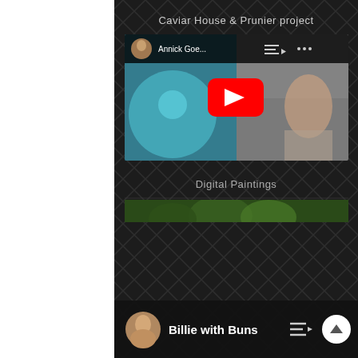Caviar House & Prunier project
[Figure (screenshot): YouTube video thumbnail showing a split image: left side depicts a teal/blue patterned ceramic object, right side shows a person in a kitchen setting. Top bar shows avatar, title 'Annick Goe...', playlist icon, and three-dot menu. Red YouTube play button centered on the thumbnail.]
Digital Paintings
[Figure (photo): Partial view of a photograph showing green foliage, visible as a strip peeking above the bottom bar.]
[Figure (screenshot): Bottom video bar showing a circular avatar portrait of a woman, title 'Billie with Buns', a playlist icon with a play arrow, and a white circle chevron-up button on the right.]